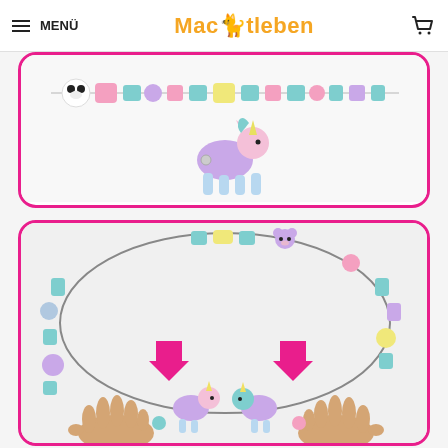MENÜ | Macitleben | [cart icon]
[Figure (photo): Colorful bead necklace with pastel beads and a small unicorn/pony toy figure, displayed on white background inside a pink rounded-corner border frame. Top portion partially visible.]
[Figure (photo): Colorful bead necklace arranged in a circle on white background inside a pink rounded-corner border frame. Two hands are shown pulling the necklace apart at a connection point, with two pink arrows pointing to the join. A small unicorn/pony figure is visible at the join point.]